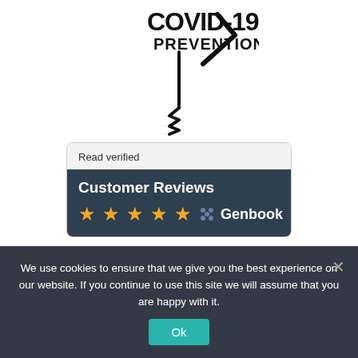[Figure (logo): COVID-19 Prevention logo with syringe/needle graphic and wavy line, black and white illustration]
[Figure (screenshot): Genbook customer reviews widget showing 'Read verified Customer Reviews' with 5 gold stars and Genbook branding on dark background]
[Figure (other): Red rectangular button (partially visible)]
We use cookies to ensure that we give you the best experience on our website. If you continue to use this site we will assume that you are happy with it.
Ok